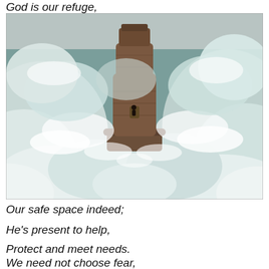God is our refuge,
[Figure (photo): Aerial photo of a lighthouse tower surrounded by enormous crashing ocean waves, with white foam engulfing the base. The stone tower stands firm amid the turbulent sea.]
Our safe space indeed;
He's present to help,
Protect and meet needs.
We need not choose fear,